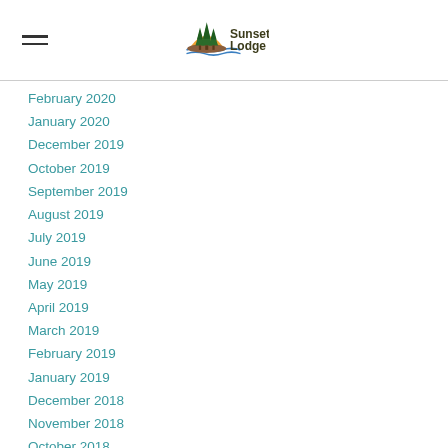[Figure (logo): Sunset Lodge logo with pine trees over a sunset/water scene and text 'Sunset Lodge']
February 2020
January 2020
December 2019
October 2019
September 2019
August 2019
July 2019
June 2019
May 2019
April 2019
March 2019
February 2019
January 2019
December 2018
November 2018
October 2018
September 2018